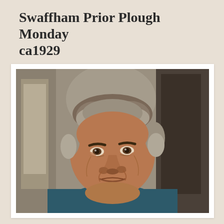Swaffham Prior Plough Monday ca1929
[Figure (photo): Portrait photograph of an elderly man with grey-brown hair, wearing a dark teal v-neck sweater over a light checked shirt, looking directly at the camera. Background shows an indoor architectural setting with arched elements.]